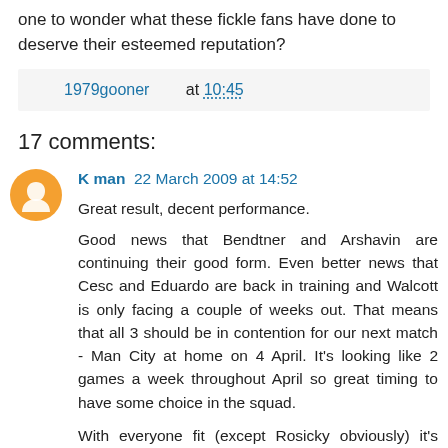one to wonder what these fickle fans have done to deserve their esteemed reputation?
1979gooner at 10:45
17 comments:
K man  22 March 2009 at 14:52
Great result, decent performance.

Good news that Bendtner and Arshavin are continuing their good form. Even better news that Cesc and Eduardo are back in training and Walcott is only facing a couple of weeks out. That means that all 3 should be in contention for our next match - Man City at home on 4 April. It's looking like 2 games a week throughout April so great timing to have some choice in the squad.

With everyone fit (except Rosicky obviously) it's going to be interesting to see what our first choice team is.